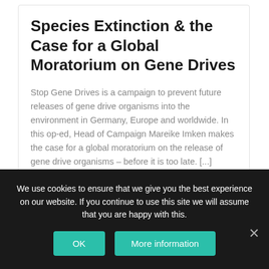Species Extinction & the Case for a Global Moratorium on Gene Drives
Stop Gene Drives is a campaign to prevent future releases of gene drive organisms into the environment in Germany, Europe and worldwide. In this op-ed, Head of Campaign Mareike Imken makes the case for a global moratorium on the release of gene drive organisms – before it is too late. [...]
Agricultural and Rural Convention
We use cookies to ensure that we give you the best experience on our website. If you continue to use this site we will assume that you are happy with this.
OK
More information